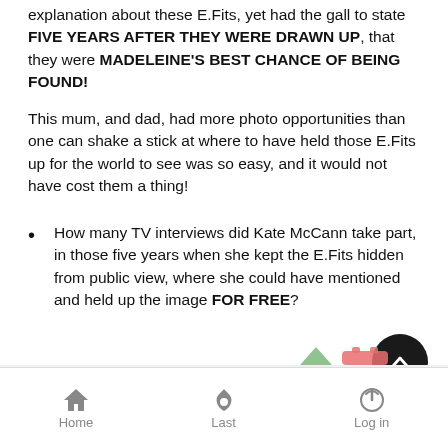explanation about these E.Fits, yet had the gall to state FIVE YEARS AFTER THEY WERE DRAWN UP, that they were MADELEINE'S BEST CHANCE OF BEING FOUND!
This mum, and dad, had more photo opportunities than one can shake a stick at where to have held those E.Fits up for the world to see was so easy, and it would not have cost them a thing!
How many TV interviews did Kate McCann take part, in those five years when she kept the E.Fits hidden from public view, where she could have mentioned and held up the image FOR FREE?
Home  Last  Log in